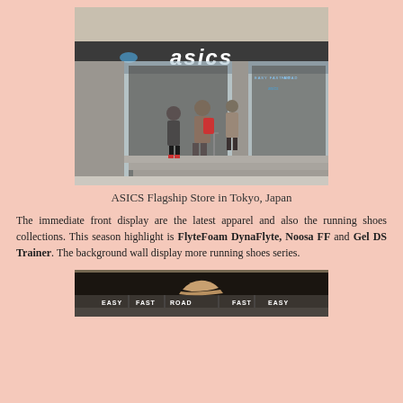[Figure (photo): ASICS flagship store exterior in Tokyo, Japan. People walking in and out, large ASICS logo sign above glass storefront.]
ASICS Flagship Store in Tokyo, Japan
The immediate front display are the latest apparel and also the running shoes collections. This season highlight is FlyteFoam DynaFlyte, Noosa FF and Gel DS Trainer. The background wall display more running shoes series.
[Figure (photo): Interior of ASICS store showing a display wall with EASY, FAST, ROAD category signs and running shoes on display.]